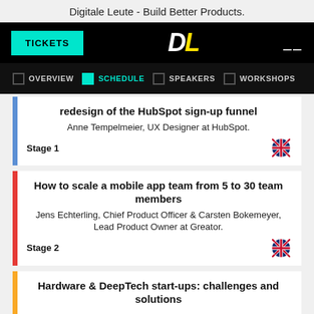Digitale Leute - Build Better Products.
[Figure (screenshot): Navigation bar with TICKETS button, DL logo, and hamburger menu on black background]
[Figure (screenshot): Sub-navigation bar with OVERVIEW, SCHEDULE (active), SPEAKERS, WORKSHOPS tabs]
redesign of the HubSpot sign-up funnel
Anne Tempelmeier, UX Designer at HubSpot.
Stage 1
How to scale a mobile app team from 5 to 30 team members
Jens Echterling, Chief Product Officer & Carsten Bokemeyer, Lead Product Owner at Greator.
Stage 2
Hardware & DeepTech start-ups: challenges and solutions